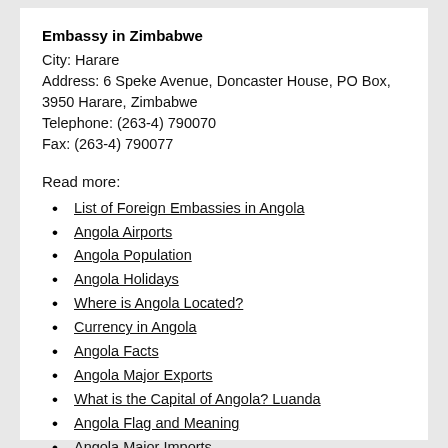Embassy in Zimbabwe
City: Harare
Address: 6 Speke Avenue, Doncaster House, PO Box, 3950 Harare, Zimbabwe
Telephone: (263-4) 790070
Fax: (263-4) 790077
Read more:
List of Foreign Embassies in Angola
Angola Airports
Angola Population
Angola Holidays
Where is Angola Located?
Currency in Angola
Angola Facts
Angola Major Exports
What is the Capital of Angola? Luanda
Angola Flag and Meaning
Angola Major Imports
Angola Import Restrictions